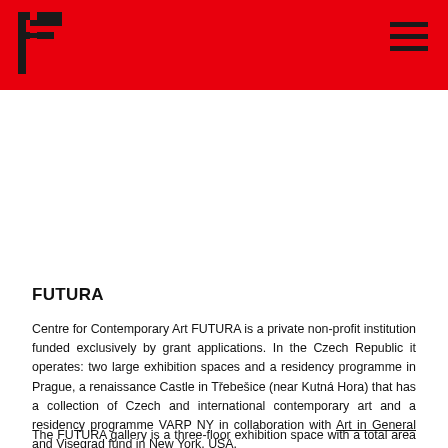FUTURA logo and navigation header
FUTURA
Centre for Contemporary Art FUTURA is a private non-profit institution funded exclusively by grant applications. In the Czech Republic it operates: two large exhibition spaces and a residency programme in Prague, a renaissance Castle in Třebešice (near Kutná Hora) that has a collection of Czech and international contemporary art and a residency programme VARP NY in collaboration with Art in General and Visegrad fund in New York, USA.
The FUTURA gallery is a three-floor exhibition space with a total area of 1,000 m² located in Prague's Smíchov quarter. Works from numerous